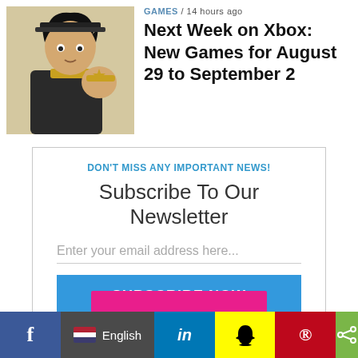[Figure (illustration): Anime-style character illustration for a video game article about Xbox games]
GAMES / 14 hours ago
Next Week on Xbox: New Games for August 29 to September 2
DON'T MISS ANY IMPORTANT NEWS!
Subscribe To Our Newsletter
Enter your email address here...
SUBSCRIBE NOW
We promise not to spam you. Unsubscribe at any time.
[Figure (infographic): Social media sharing bar with Facebook, language selector (English), LinkedIn, Snapchat, Pinterest, and share icons]